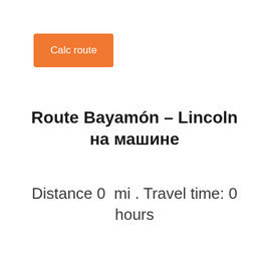[Figure (other): Orange button labeled 'Calc route']
Route Bayamón – Lincoln на машине
Distance 0  mi . Travel time: 0 hours